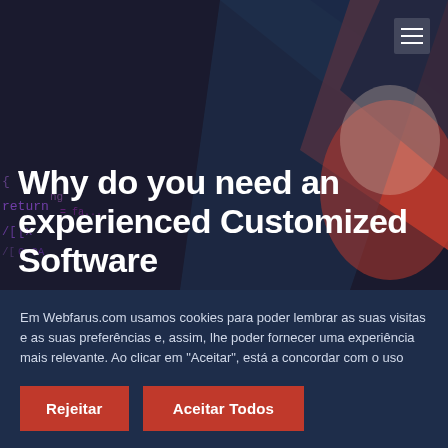[Figure (screenshot): Hero section of a website with dark background, geometric shapes in red and dark blue/navy, code text visible, and a partial face visible on the right side with a red color overlay. Hamburger menu icon in top right corner.]
Why do you need an experienced Customized Software Developer?
Em Webfarus.com usamos cookies para poder lembrar as suas visitas e as suas preferências e, assim, lhe poder fornecer uma experiência mais relevante. Ao clicar em "Aceitar", está a concordar com o uso que damos aos cookies. Para mais informações, leia a Política de Privacidade.
Rejeitar
Aceitar Todos